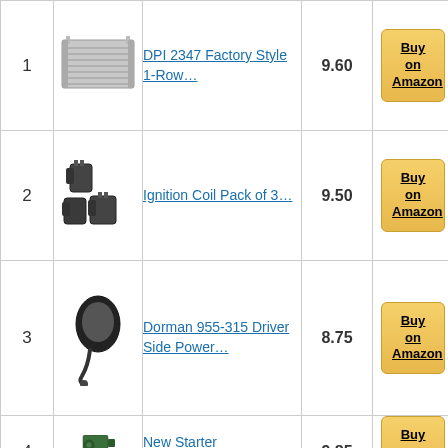| # | Image | Product | Score | Action |
| --- | --- | --- | --- | --- |
| 1 | [radiator image] | DPI 2347 Factory Style 1-Row… | 9.60 | Buy on Amazon |
| 2 | [coil image] | Ignition Coil Pack of 3… | 9.50 | Buy on Amazon |
| 3 | [mirror image] | Dorman 955-315 Driver Side Power… | 8.75 | Buy on Amazon |
| 4 | [starter image] | New Starter Replacement For | 9.85 | Buy on Amazon |